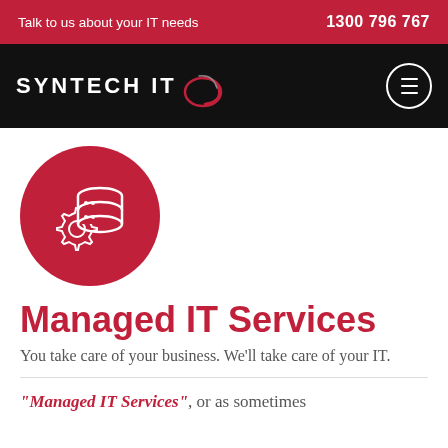Talk to us about your IT needs | 1300 796 767
[Figure (logo): Syntech IT logo on black navigation bar with hamburger menu button]
[Figure (illustration): Red circle containing white database/server icon with gear cog icon]
Managed IT Services
You take care of your business. We'll take care of your IT.
"Managed IT Services", or as sometimes